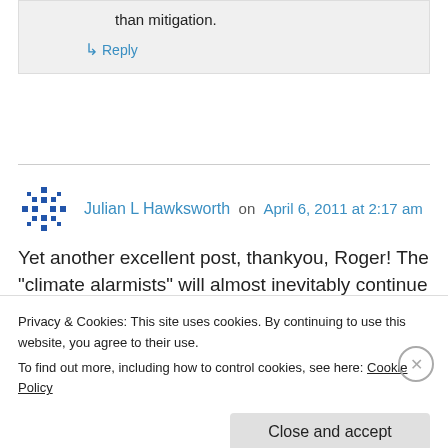than mitigation.
↳ Reply
Julian L Hawksworth on April 6, 2011 at 2:17 am
Yet another excellent post, thankyou, Roger! The “climate alarmists” will almost inevitably continue
Privacy & Cookies: This site uses cookies. By continuing to use this website, you agree to their use. To find out more, including how to control cookies, see here: Cookie Policy
Close and accept